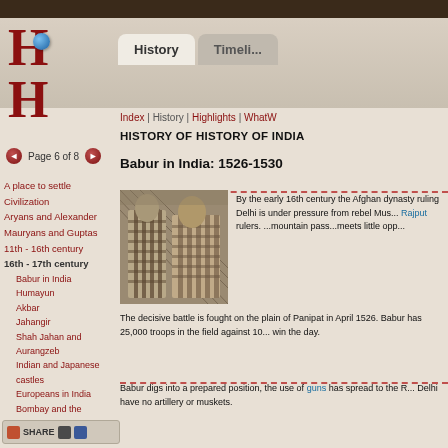History | Timeline
Index | History | Highlights | WhatW
HISTORY OF HISTORY OF INDIA
Page 6 of 8
A place to settle
Civilization
Aryans and Alexander
Mauryans and Guptas
11th - 16th century
16th - 17th century
Babur in India
Humayun
Akbar
Jahangir
Shah Jahan and Aurangzeb
Indian and Japanese castles
Europeans in India
Bombay and the Parsees
18th century
To be completed
Babur in India: 1526-1530
[Figure (photo): Historical armor/elephant armor display, striped pattern]
By the early 16th century the Afghan dynasty ruling Delhi is under pressure from rebel Mus... Rajput rulers. ...mountain pass...meets little opp...
The decisive battle is fought on the plain of Panipat in April 1526. Babur has 25,000 troops in the field against 10... win the day.
Babur digs into a prepared position, the use of guns has spread to the R... Delhi have no artillery or muskets.